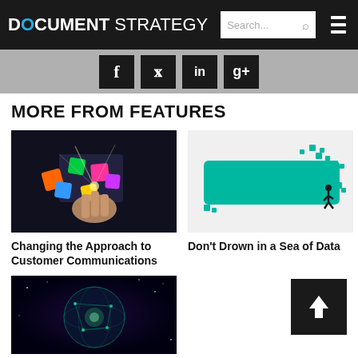DOCUMENT STRATEGY
[Figure (screenshot): Social media share buttons: Facebook, Twitter, LinkedIn, Google+]
MORE FROM FEATURES
[Figure (photo): Hand touching colorful app icons floating in dark background]
Changing the Approach to Customer Communications
[Figure (photo): Teal pixelated wave with a person running, data visualization concept]
Don’t Drown in a Sea of Data
[Figure (photo): Glowing network globe in dark space background]